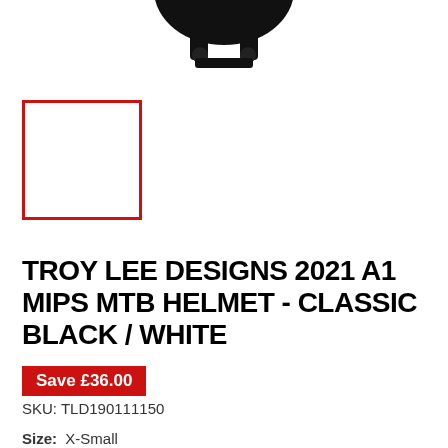[Figure (photo): Partial product photo of a Troy Lee Designs MTB helmet shown from above/behind against white background, visible at top of page]
[Figure (photo): Small thumbnail image box with red border, empty/white interior, representing a product color variant thumbnail]
TROY LEE DESIGNS 2021 A1 MIPS MTB HELMET - CLASSIC BLACK / WHITE
Save £36.00
SKU: TLD190111150
Size:  X-Small